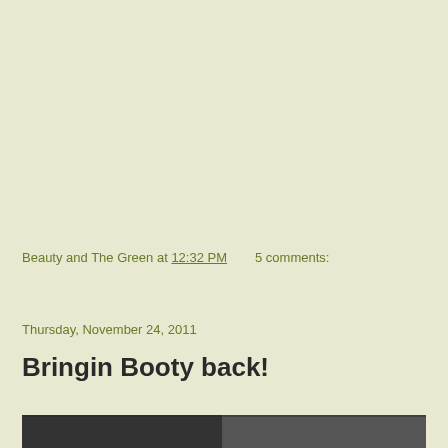Beauty and The Green at 12:32 PM    5 comments:
Share
Thursday, November 24, 2011
Bringin Booty back!
[Figure (photo): Bottom portion of a photo showing two women, partially cut off at the bottom of the page]